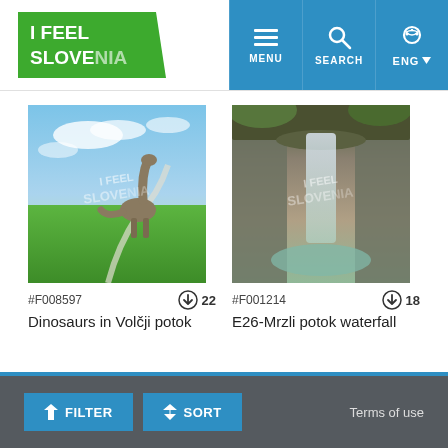[Figure (logo): I Feel Slovenia logo - green diagonal banner with white text]
[Figure (screenshot): Navigation bar with MENU, SEARCH, and ENG buttons on blue background]
[Figure (photo): Dinosaur sculpture in Volčji potok park with green lawn and cloudy sky. Watermarked with I Feel Slovenia. ID: F008597, 22 downloads.]
#F008597
22
Dinosaurs in Volčji potok
[Figure (photo): Waterfall at Mrzli potok flowing over rocky cliff into pool below. Watermarked with I Feel Slovenia. ID: F001214, 18 downloads.]
#F001214
18
E26-Mrzli potok waterfall
FILTER   SORT   Terms of use